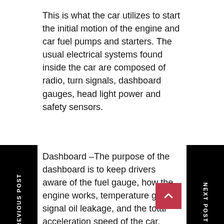This is what the car utilizes to start the initial motion of the engine and car fuel pumps and starters. The usual electrical systems found inside the car are composed of radio, turn signals, dashboard gauges, head light power and safety sensors.
Dashboard –The purpose of the dashboard is to keep drivers aware of the fuel gauge, how the engine works, temperature gauge, signal oil leakage, and the total acceleration speed of the car. Dashboard checking aids in quickly diagnosing whether the car is fit to function or needs to be repaired or conduct automotive maintenance.